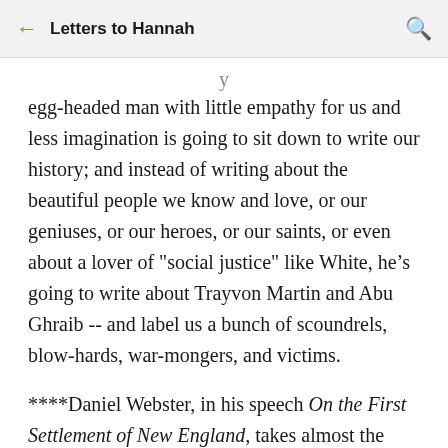← Letters to Hannah 🔍
egg-headed man with little empathy for us and less imagination is going to sit down to write our history; and instead of writing about the beautiful people we know and love, or our geniuses, or our heroes, or our saints, or even about a lover of "social justice" like White, he's going to write about Trayvon Martin and Abu Ghraib -- and label us a bunch of scoundrels, blow-hards, war-mongers, and victims.
****Daniel Webster, in his speech On the First Settlement of New England, takes almost the polar